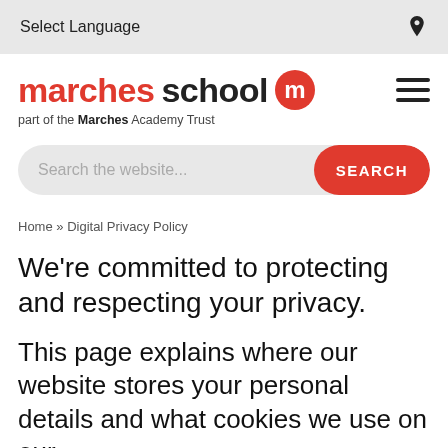Select Language
[Figure (logo): Marches School logo with red 'marches' text, black 'school' text and red circle M icon, with tagline 'part of the Marches Academy Trust']
Search the website...
Home » Digital Privacy Policy
We're committed to protecting and respecting your privacy.
This page explains where our website stores your personal details and what cookies we use on our website and how we use them to make...